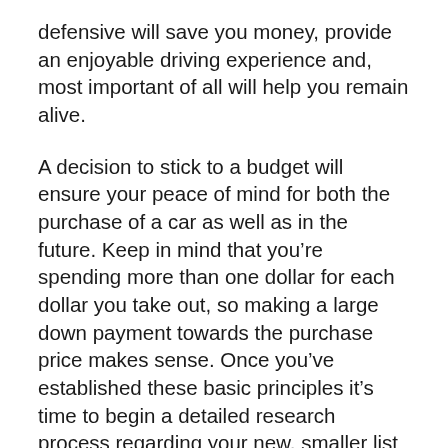defensive will save you money, provide an enjoyable driving experience and, most important of all will help you remain alive.
A decision to stick to a budget will ensure your peace of mind for both the purchase of a car as well as in the future. Keep in mind that you’re spending more than one dollar for each dollar you take out, so making a large down payment towards the purchase price makes sense. Once you’ve established these basic principles it’s time to begin a detailed research process regarding your new, smaller list of vehicles. Calculate the monthly payments you can afford with the Autotrader’s payment calculator to figure out the amount you’ll need to take out.